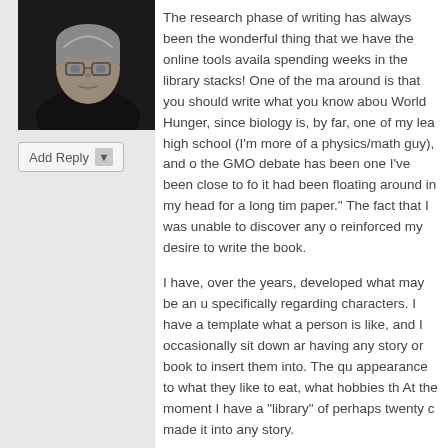[Figure (photo): Black and white headshot photo of a middle-aged man with gray hair wearing glasses and a dark jacket]
Add Reply
The research phase of writing has always been the wonderful thing that we have the online tools available spending weeks in the library stacks! One of the main around is that you should write what you know about World Hunger, since biology is, by far, one of my lea high school (I'm more of a physics/math guy), and c the GMO debate has been one I've been close to fo it had been floating around in my head for a long tim paper." The fact that I was unable to discover any o reinforced my desire to write the book.
I have, over the years, developed what may be an u specifically regarding characters. I have a template what a person is like, and I occasionally sit down ar having any story or book to insert them into. The qu appearance to what they like to eat, what hobbies th At the moment I have a "library" of perhaps twenty c made it into any story.
As for the impact of my research on my own views o honestly say that it took me in a different direction. T nuanced, and I certainly enjoyed the opportunity to